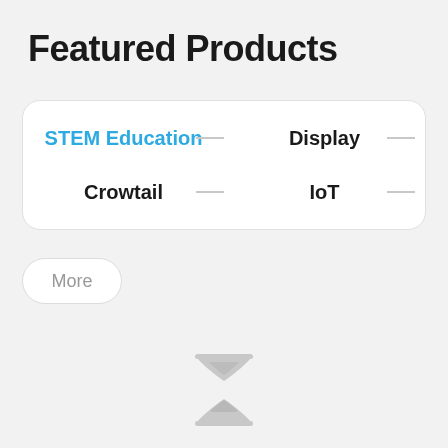Featured Products
STEM Education
Display
Crowtail
IoT
More
[Figure (illustration): Hourglass loading icon in light gray]